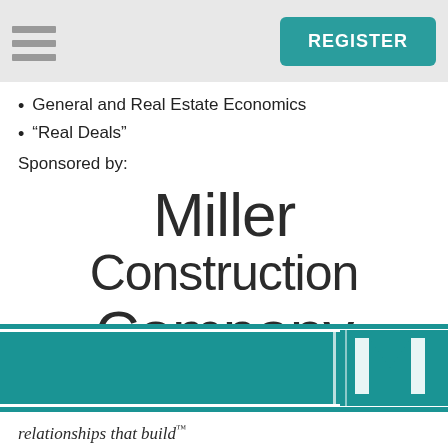REGISTER
General and Real Estate Economics
“Real Deals”
Sponsored by:
[Figure (logo): Miller Construction Company logo with teal banner and stylized M icon, tagline 'relationships that build']